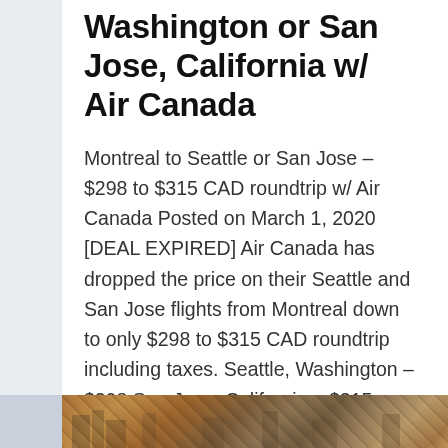Washington or San Jose, California w/ Air Canada
Montreal to Seattle or San Jose – $298 to $315 CAD roundtrip w/ Air Canada Posted on March 1, 2020 [DEAL EXPIRED] Air Canada has dropped the price on their Seattle and San Jose flights from Montreal down to only $298 to $315 CAD roundtrip including taxes. Seattle, Washington – $298 San Jose, California – $315…
READ MORE →
[Figure (photo): Partial view of a photo strip at the bottom of the page showing what appears to be a cityscape or travel destination photo]